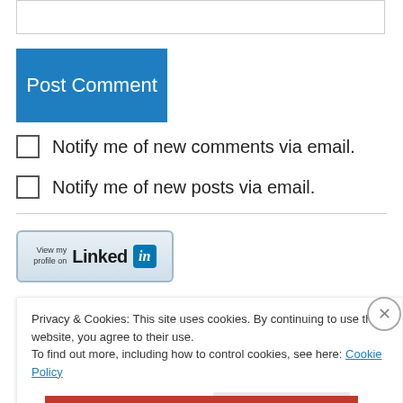[Figure (screenshot): Empty text input box outline at the top of the page]
[Figure (screenshot): Blue 'Post Comment' button]
Notify me of new comments via email.
Notify me of new posts via email.
[Figure (logo): LinkedIn 'View my profile on' badge button]
Privacy & Cookies: This site uses cookies. By continuing to use this website, you agree to their use.
To find out more, including how to control cookies, see here: Cookie Policy
Close and accept